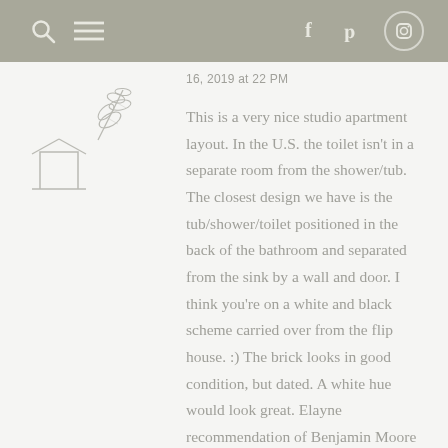search menu f p instagram
[Figure (illustration): Logo with a botanical leaf/branch illustration above a square frame outline]
16, 2019 at 22 PM
This is a very nice studio apartment layout. In the U.S. the toilet isn't in a separate room from the shower/tub. The closest design we have is the tub/shower/toilet positioned in the back of the bathroom and separated from the sink by a wall and door. I think you're on a white and black scheme carried over from the flip house. :) The brick looks in good condition, but dated. A white hue would look great. Elayne recommendation of Benjamin Moore Stonington Grey sound like a great